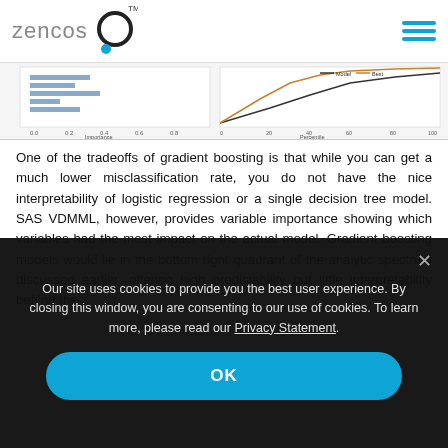zencos (logo)
[Figure (screenshot): Partial chart thumbnail showing variable importance and percentile plots with Model and Best lines, partially visible at top of content area.]
One of the tradeoffs of gradient boosting is that while you can get a much lower misclassification rate, you do not have the nice interpretability of logistic regression or a single decision tree model. SAS VDMML, however, provides variable importance showing which variables had the most impact on the actual model. Gradient boosting models would lie in the bottom right quadrant of the analytic spectrum discussed earlier, offering high predictability but little interpretability behind the
Our site uses cookies to provide you the best user experience. By closing this window, you are consenting to our use of cookies. To learn more, please read our Privacy Statement.
OK